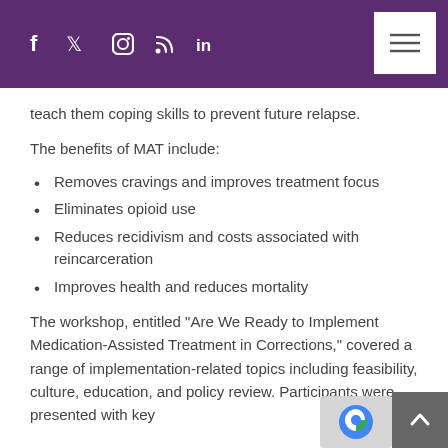f  twitter  instagram  rss  in  [menu]
teach them coping skills to prevent future relapse.
The benefits of MAT include:
Removes cravings and improves treatment focus
Eliminates opioid use
Reduces recidivism and costs associated with reincarceration
Improves health and reduces mortality
The workshop, entitled “Are We Ready to Implement Medication-Assisted Treatment in Corrections,” covered a range of implementation-related topics including feasibility, culture, education, and policy review. Participants were presented with key